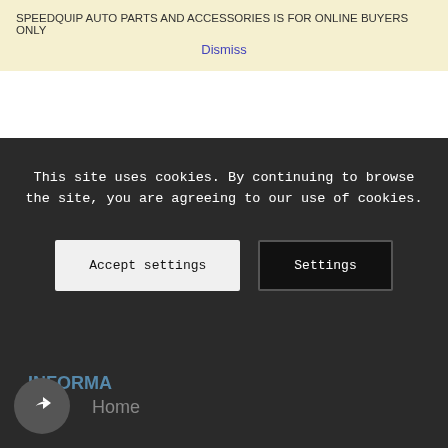SPEEDQUIP AUTO PARTS AND ACCESSORIES IS FOR ONLINE BUYERS ONLY
Dismiss
Address:
42 Naomi Street, Strand
Cape Town, 7139
PLEASE NOTE WWW.SPEEDQUIP.CO.ZA IS FOR ONLINE BUYERS ONLY
Email: info@speedquip.co.za
WHATSAPP:0677522537
This site uses cookies. By continuing to browse the site, you are agreeing to our use of cookies.
INFORMA
Home